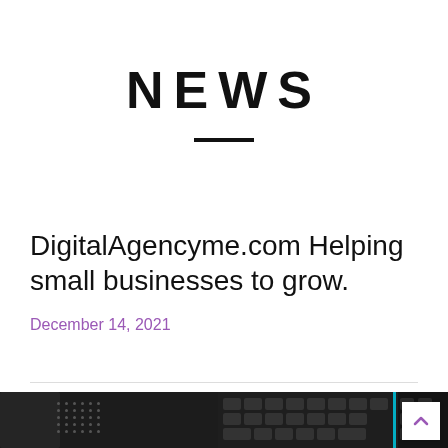NEWS
DigitalAgencyme.com Helping small businesses to grow.
December 14, 2021
[Figure (photo): A dark-toned photograph showing electronic devices including a keyboard and phone with a teal/cyan digital overlay or screen visible on the right side, along with a textured black accessory on the left.]